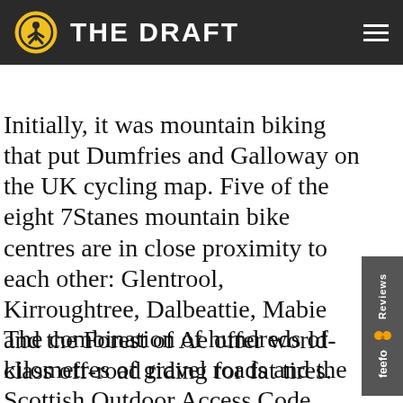THE DRAFT
Initially, it was mountain biking that put Dumfries and Galloway on the UK cycling map. Five of the eight 7Stanes mountain bike centres are in close proximity to each other: Glentrool, Kirroughtree, Dalbeattie, Mabie and the Forest of Ae offer world-class off-road riding for fat tires.
The combination of hundreds of kilometres of gravel roads and the Scottish Outdoor Access Code have now made it one...